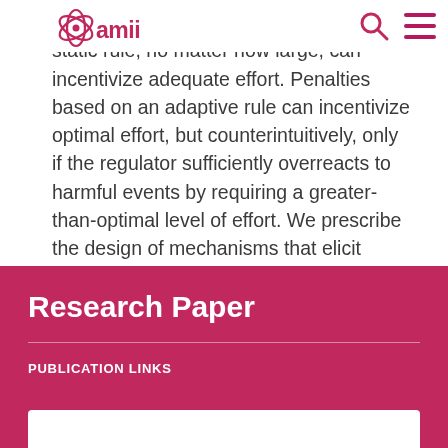[Figure (logo): AMII logo - stylized atom graphic with 'amii' text in magenta/pink]
demonstrate that no penalty based on a static rule, no matter how large, can incentivize adequate effort. Penalties based on an adaptive rule can incentivize optimal effort, but counterintuitively, only if the regulator sufficiently overreacts to harmful events by requiring a greater-than-optimal level of effort. We prescribe the design of mechanisms that elicit platforms' costs of precautionary effort relating to the control of disinformation.
Research Paper
PUBLICATION LINKS